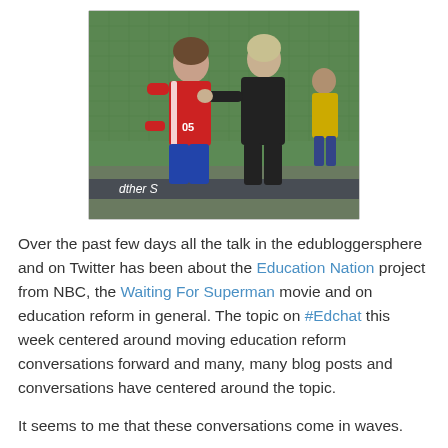[Figure (photo): Two soccer players on a field with green stadium seats in background. A player in a red jersey (number 05) faces a referee or official in black who appears to be gesturing or explaining something. Another player in yellow is visible in the background.]
Over the past few days all the talk in the edubloggersphere and on Twitter has been about the Education Nation project from NBC, the Waiting For Superman movie and on education reform in general. The topic on #Edchat this week centered around moving education reform conversations forward and many, many blog posts and conversations have centered around the topic.
It seems to me that these conversations come in waves.